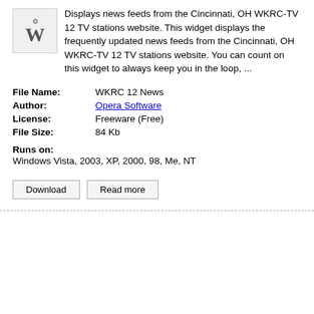Displays news feeds from the Cincinnati, OH WKRC-TV 12 TV stations website. This widget displays the frequently updated news feeds from the Cincinnati, OH WKRC-TV 12 TV stations website. You can count on this widget to always keep you in the loop, ...
| File Name: | WKRC 12 News |
| Author: | Opera Software |
| License: | Freeware (Free) |
| File Size: | 84 Kb |
Runs on:
Windows Vista, 2003, XP, 2000, 98, Me, NT
Download   Read more
Stay Secure SD  v.0.7